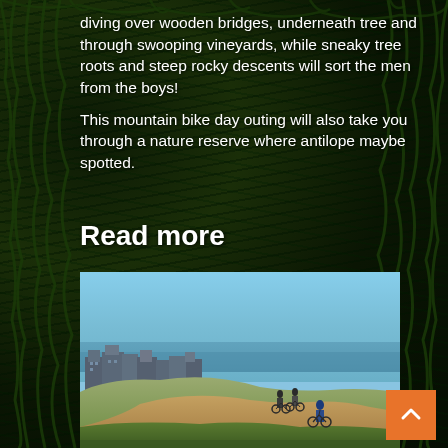diving over wooden bridges, underneath tree and through swooping vineyards, while sneaky tree roots and steep rocky descents will sort the men from the boys!
This mountain bike day outing will also take you through a nature reserve where antilope maybe spotted.
Read more
[Figure (photo): Mountain bikers on a hilltop trail with city skyline and ocean in the background under a clear blue sky]